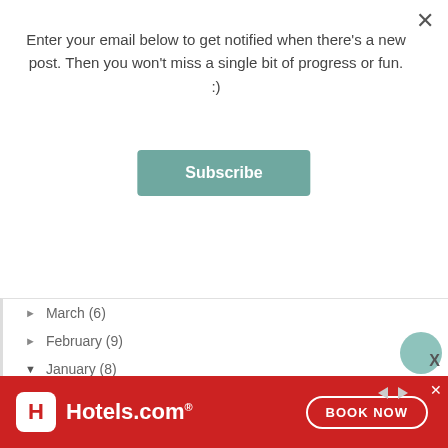Enter your email below to get notified when there's a new post. Then you won't miss a single bit of progress or fun. :)
Subscribe
► March (6)
► February (9)
▼ January (8)
Until Next Year…
What Day Is It?
Last Week
12 Months of Sebastian
Dun Dun Dun
Cabinet Makeover + Cheap DIY Sponge Pattern
Goldie Toes, Jr.
[Figure (screenshot): Hotels.com advertisement banner with red background, H logo, Hotels.com text, and BOOK NOW button]